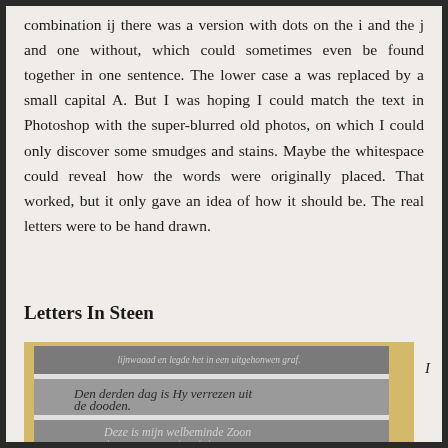combination ij there was a version with dots on the i and the j and one without, which could sometimes even be found together in one sentence. The lower case a was replaced by a small capital A. But I was hoping I could match the text in Photoshop with the super-blurred old photos, on which I could only discover some smudges and stains. Maybe the whitespace could reveal how the words were originally placed. That worked, but it only gave an idea of how it should be. The real letters were to be hand drawn.
Letters In Steen
[Figure (photo): Photograph of stone-carved Gothic script text slabs showing Dutch religious text including 'Den derden dag is Hy verrezen uit de dooden.' and 'Deze is mijn welbeminde Zoon' on gray stone pieces against a yellow/tan background.]